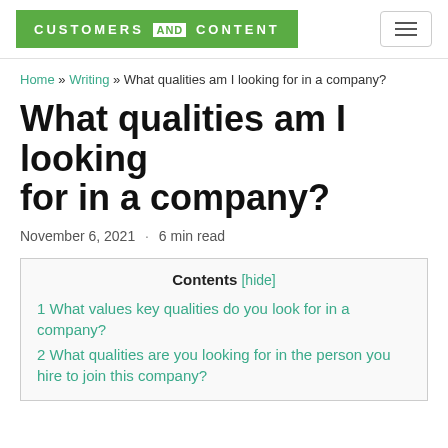CUSTOMERS AND CONTENT
Home » Writing » What qualities am I looking for in a company?
What qualities am I looking for in a company?
November 6, 2021 · 6 min read
Contents [hide]
1 What values key qualities do you look for in a company?
2 What qualities are you looking for in the person you hire to join this company?